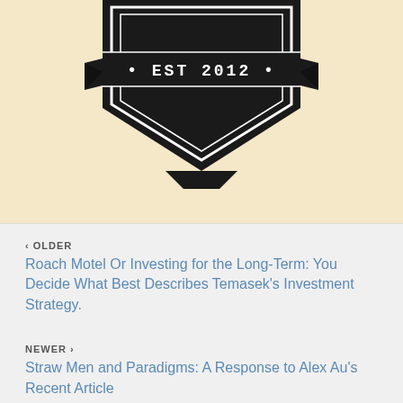[Figure (logo): Black shield/badge logo with ribbon banner showing '• EST 2012 •' text, partially visible at top of page]
‹ OLDER
Roach Motel Or Investing for the Long-Term: You Decide What Best Describes Temasek's Investment Strategy.
NEWER ›
Straw Men and Paradigms: A Response to Alex Au's Recent Article